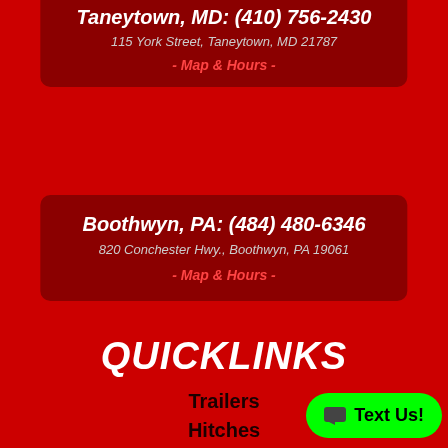Taneytown, MD: (410) 756-2430
115 York Street, Taneytown, MD 21787
- Map & Hours -
Boothwyn, PA: (484) 480-6346
820 Conchester Hwy., Boothwyn, PA 19061
- Map & Hours -
QUICKLINKS
Trailers
Hitches
Outdoor Power Equipment
Snow Plows
Truck Accessories